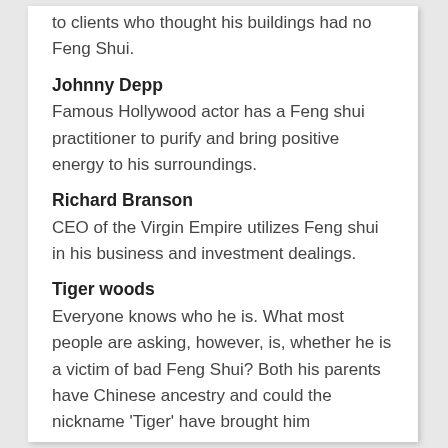to clients who thought his buildings had no Feng Shui.
Johnny Depp
Famous Hollywood actor has a Feng shui practitioner to purify and bring positive energy to his surroundings.
Richard Branson
CEO of the Virgin Empire utilizes Feng shui in his business and investment dealings.
Tiger woods
Everyone knows who he is. What most people are asking, however, is, whether he is a victim of bad Feng Shui? Both his parents have Chinese ancestry and could the nickname 'Tiger' have brought him misfortune. 2010, after all, was the year of the Tiger and the Tiger element is wood. Not surprisingly perhaps, there have been